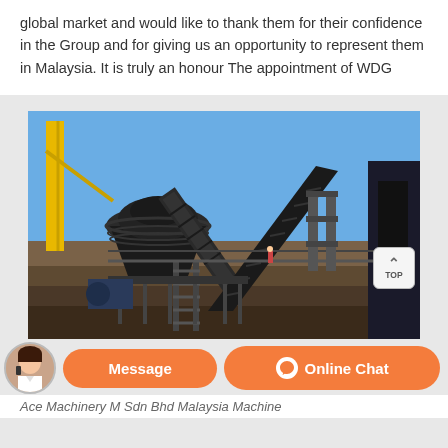global market and would like to thank them for their confidence in the Group and for giving us an opportunity to represent them in Malaysia. It is truly an honour The appointment of WDG
[Figure (photo): Outdoor photograph of heavy industrial mining or quarrying machinery, including a large cone crusher, conveyor belts, and a yellow crane/boom in the background, under a clear blue sky.]
Ace Machinery M Sdn Bhd Malaysia Machine